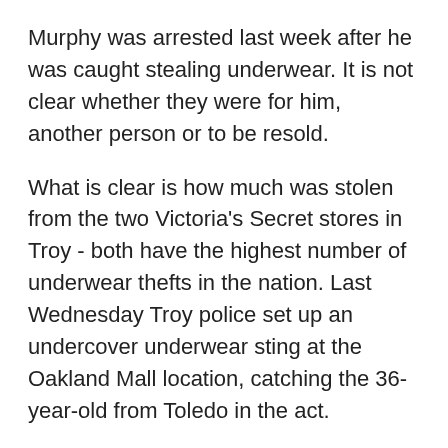Murphy was arrested last week after he was caught stealing underwear. It is not clear whether they were for him, another person or to be resold.
What is clear is how much was stolen from the two Victoria's Secret stores in Troy - both have the highest number of underwear thefts in the nation. Last Wednesday Troy police set up an undercover underwear sting at the Oakland Mall location, catching the 36-year-old from Toledo in the act.
After realizing police were on to him, Murphy took off running out of the mall. He jumped in his car and the officer followed.
Murphy drove off with a police officer in the back seat and didn't get very far. After nearly hitting an officer